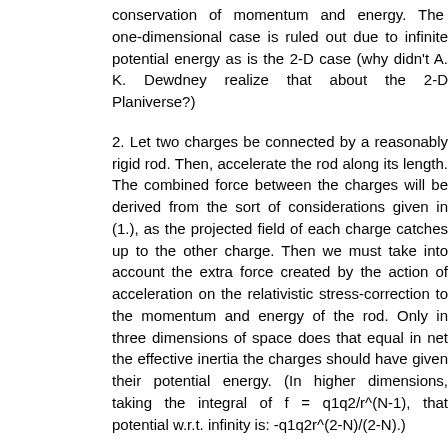conservation of momentum and energy. The one-dimensional case is ruled out due to infinite potential energy as is the 2-D case (why didn't A. K. Dewdney realize that about the 2-D Planiverse?)
2. Let two charges be connected by a reasonably rigid rod. Then, accelerate the rod along its length. The combined force between the charges will be derived from the sort of considerations given in (1.), as the projected field of each charge catches up to the other charge. Then we must take into account the extra force created by the action of acceleration on the relativistic stress-correction to the momentum and energy of the rod. Only in three dimensions of space does that equal in net the effective inertia the charges should have given their potential energy. (In higher dimensions, taking the integral of f = q1q2/r^(N-1), that potential w.r.t. infinity is: -q1q2r^(2-N)/(2-N).)
I hope I can publish the full development of this before long. I don't think anyone else has an explicit proof that N *must* equal three, only reasons it was more likely to form, or oddities like being unfriendly to life, distorted wave